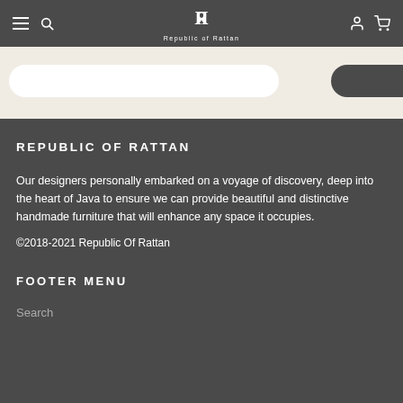Republic of Rattan — navigation bar with hamburger menu, search, logo, account and cart icons
[Figure (screenshot): Light beige hero section with a rounded search bar and dark rounded button on the right]
REPUBLIC OF RATTAN
Our designers personally embarked on a voyage of discovery, deep into the heart of Java to ensure we can provide beautiful and distinctive handmade furniture that will enhance any space it occupies.
©2018-2021 Republic Of Rattan
FOOTER MENU
Search